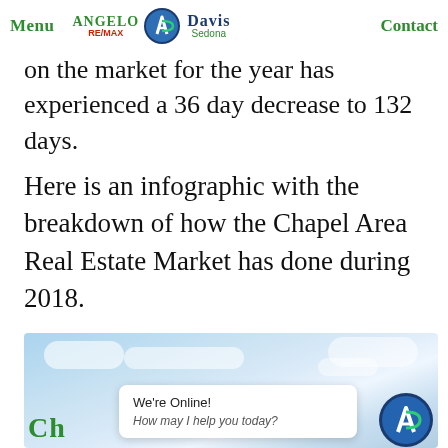Menu  ANGELO RE/MAX  [logo]  DAVIS Sedona  Contact
on the market for the year has experienced a 36 day decrease to 132 days.
Here is an infographic with the breakdown of how the Chapel Area Real Estate Market has done during 2018.
[Figure (infographic): Infographic image showing Chapel Area real estate market 2018, with sky/cloud background, a chat bubble saying 'We're Online! How may I help you today?', an AD logo circle, and green text 'Ch...' at bottom left.]